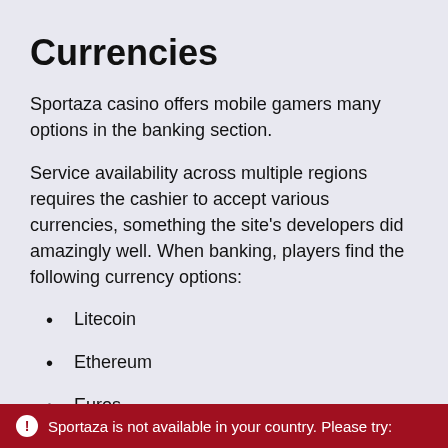Currencies
Sportaza casino offers mobile gamers many options in the banking section.
Service availability across multiple regions requires the cashier to accept various currencies, something the site's developers did amazingly well. When banking, players find the following currency options:
Litecoin
Ethereum
Euros
US Dollars
Sportaza is not available in your country. Please try: